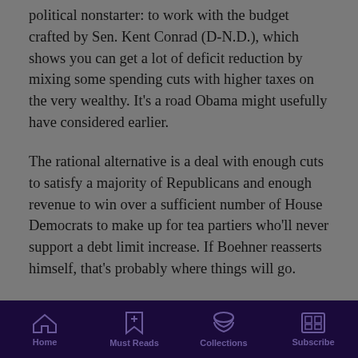political nonstarter: to work with the budget crafted by Sen. Kent Conrad (D-N.D.), which shows you can get a lot of deficit reduction by mixing some spending cuts with higher taxes on the very wealthy. It's a road Obama might usefully have considered earlier.
The rational alternative is a deal with enough cuts to satisfy a majority of Republicans and enough revenue to win over a sufficient number of House Democrats to make up for tea partiers who'll never support a debt limit increase. If Boehner reasserts himself, that's probably where things will go.
Here's the worrisome scenario: Cantor takes every domestic spending cut that was discussed as part of
Home  Must Reads  Collections  Subscribe